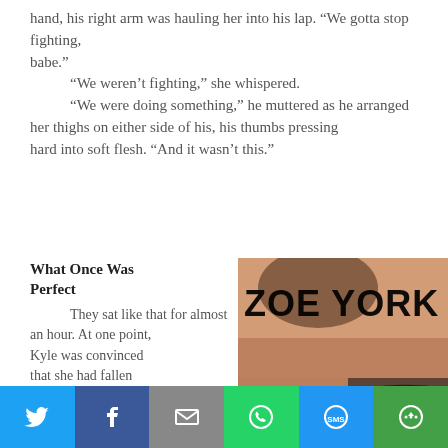back with his left hand, his right arm was hauling her into his lap. “We gotta stop fighting, babe.”
“We weren’t fighting,” she whispered.
“We were doing something,” he muttered as he arranged her thighs on either side of his, his thumbs pressing hard into soft flesh. “And it wasn’t this.”
What Once Was Perfect
They sat like that for almost an hour. At one point, Kyle was convinced that she had fallen
[Figure (photo): Book cover for 'What Once Was Perfect' by Zoe York showing a romantic/intimate couple image with the author name ZOE YORK overlaid in large black text]
Social sharing toolbar with Twitter, Facebook, Email, WhatsApp, SMS, and More buttons